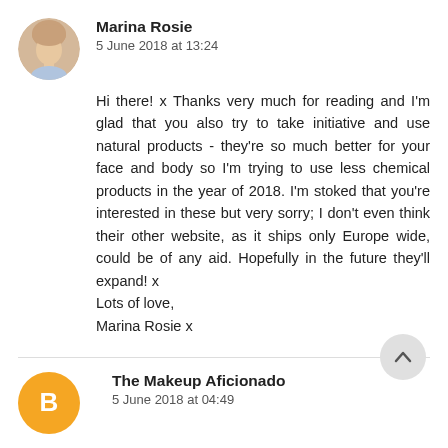[Figure (photo): Circular avatar photo of Marina Rosie, a young woman with light skin]
Marina Rosie
5 June 2018 at 13:24
Hi there! x Thanks very much for reading and I'm glad that you also try to take initiative and use natural products - they're so much better for your face and body so I'm trying to use less chemical products in the year of 2018. I'm stoked that you're interested in these but very sorry; I don't even think their other website, as it ships only Europe wide, could be of any aid. Hopefully in the future they'll expand! x
Lots of love,
Marina Rosie x
[Figure (logo): Orange circular avatar with a white Blogger 'B' icon for The Makeup Aficionado]
The Makeup Aficionado
5 June 2018 at 04:49
I'm loving the sound of that facial moisturizer. I actually haven't tried any beauty products that contain